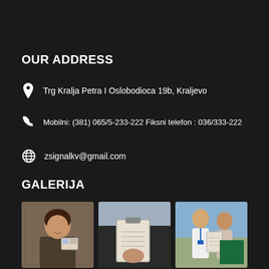OUR ADDRESS
Trg Kralja Petra I Oslobodioca 19b, Kraljevo
Mobilni: (381) 065/5-233-222 Fiksni telefon : 036/333-222
zsignalkv@gmail.com
GALERIJA
[Figure (photo): Gallery grid of driving school photos: woman with license, clipboard in car, instructor with student]
[Figure (photo): Bottom row of gallery thumbnails (partially visible)]